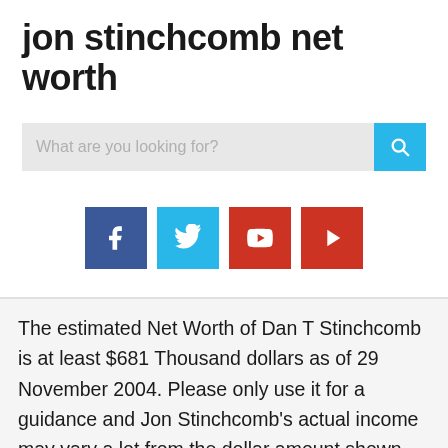jon stinchcomb net worth
[Figure (screenshot): Search bar with placeholder text 'What are you looking for?' and a cyan search button with a magnifying glass icon]
[Figure (infographic): Four social media icon buttons: dark blue Facebook, cyan Twitter, red YouTube/Google+, red Pinterest]
The estimated Net Worth of Dan T Stinchcomb is at least $681 Thousand dollars as of 29 November 2004. Please only use it for a guidance and Jon Stinchcomb's actual income may vary a lot from the dollar amount shown above. He was a first-team All-American selection at tackle in 1997, and was recognized as a consensus first-team All-American following the 1998 season. They may be used by those companies to build a profile of your interests and show you relevant adverts on other sites. He played college football for